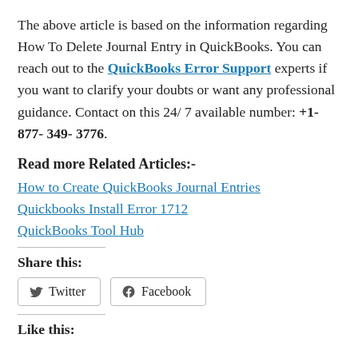The above article is based on the information regarding How To Delete Journal Entry in QuickBooks. You can reach out to the QuickBooks Error Support experts if you want to clarify your doubts or want any professional guidance. Contact on this 24/ 7 available number: +1- 877- 349- 3776.
Read more Related Articles:-
How to Create QuickBooks Journal Entries
Quickbooks Install Error 1712
QuickBooks Tool Hub
Share this:
Twitter  Facebook
Like this: